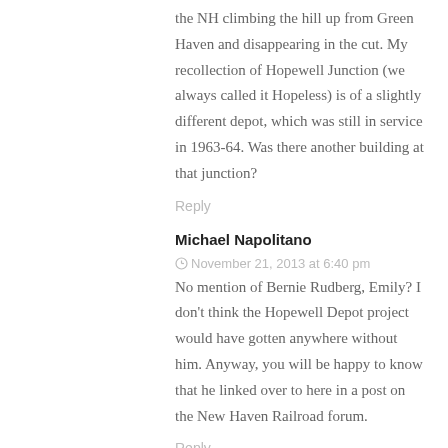the NH climbing the hill up from Green Haven and disappearing in the cut. My recollection of Hopewell Junction (we always called it Hopeless) is of a slightly different depot, which was still in service in 1963-64. Was there another building at that junction?
Reply
Michael Napolitano  November 21, 2013 at 6:40 pm
No mention of Bernie Rudberg, Emily? I don't think the Hopewell Depot project would have gotten anywhere without him. Anyway, you will be happy to know that he linked over to here in a post on the New Haven Railroad forum.
Reply
Emily  November 21, 2013 at 8:39 pm
Aww, you mean the photo of Bernie in his Conductor hat wasn't enough? ;)
Believe me, there are plenty of things that I could have said